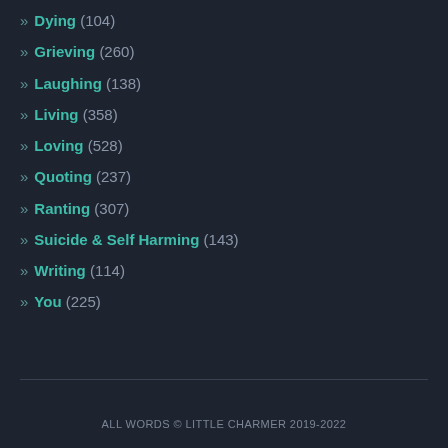» Dying (104)
» Grieving (260)
» Laughing (138)
» Living (358)
» Loving (528)
» Quoting (237)
» Ranting (307)
» Suicide & Self Harming (143)
» Writing (114)
» You (225)
ALL WORDS © LITTLE CHARMER 2019-2022